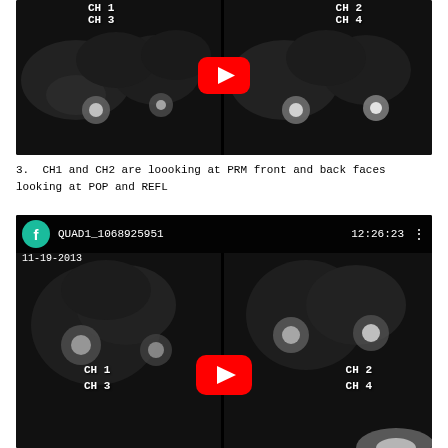[Figure (screenshot): Quad-channel infrared/monochrome camera view labeled CH1, CH2, CH3, CH4 showing optical components (PRM front and back, POP and REFL). YouTube play button overlay visible. Top portion of page.]
3.  CH1 and CH2 are loooking at PRM front and back faces looking at POP and REFL
[Figure (screenshot): Quad-channel infrared/monochrome camera screenshot labeled QUAD1_1068925951, dated 11-19-2013, time 12:26:23, showing CH1, CH2, CH3, CH4 with optical components. YouTube play button overlay. Has YouTube-style header with teal 'f' icon.]